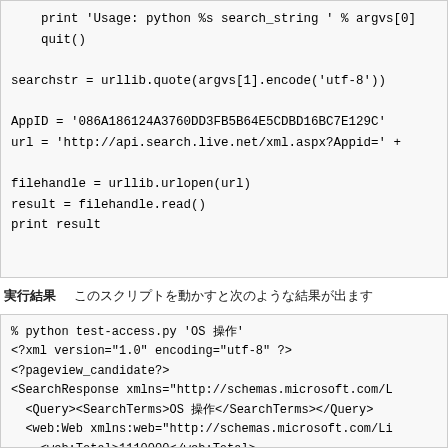print 'Usage: python %s search_string ' % argvs[0]
    quit()

searchstr = urllib.quote(argvs[1].encode('utf-8'))

AppID = '086A186124A3760DD3FB5B64E5CDBD16BC7E129C'
url = 'http://api.search.live.net/xml.aspx?Appid=' +

filehandle = urllib.urlopen(url)
result = filehandle.read()
print result
実行結果　このスクリプトを動かすと次のような結果が出ます
% python test-access.py 'OS 操作'
<?xml version="1.0" encoding="utf-8" ?>
<?pageview_candidate?>
<SearchResponse xmlns="http://schemas.microsoft.com/L
  <Query><SearchTerms>OS 操作</SearchTerms></Query>
  <web:Web xmlns:web="http://schemas.microsoft.com/Li
    <web:Total>1110000</web:Total>
    <web:Offset>0</web:Offset>
    <web:Results>